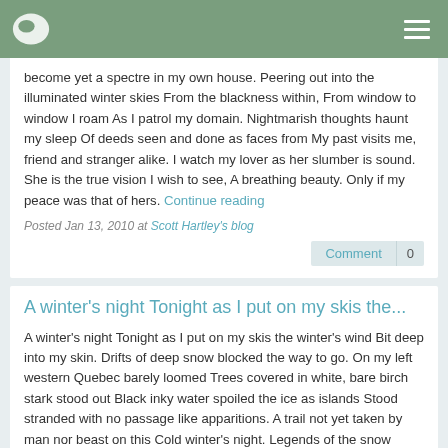Navigation bar with logo and menu icon
become yet a spectre in my own house. Peering out into the illuminated winter skies From the blackness within, From window to window I roam As I patrol my domain. Nightmarish thoughts haunt my sleep Of deeds seen and done as faces from My past visits me, friend and stranger alike. I watch my lover as her slumber is sound. She is the true vision I wish to see, A breathing beauty. Only if my peace was that of hers. Continue reading
Posted Jan 13, 2010 at Scott Hartley's blog
A winter's night Tonight as I put on my skis the...
A winter's night Tonight as I put on my skis the winter's wind Bit deep into my skin. Drifts of deep snow blocked the way to go. On my left western Quebec barely loomed Trees covered in white, bare birch stark stood out Black inky water spoiled the ice as islands Stood stranded with no passage like apparitions. A trail not yet taken by man nor beast on this Cold winter's night. Legends of the snow walker haunted my thoughts As the evening sky transformed from mauve To indigo as an arch light pierced the horizon. The light house still... Continue reading
Posted Jan 13, 2010 at Scott Hartley's blog